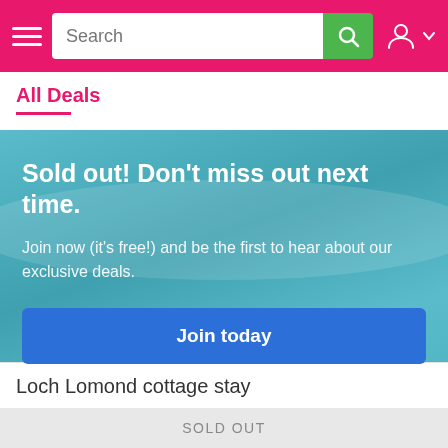Search
All Deals
Sold out! Don't miss out next time. Join now (it's free!) and be the first to hear about our exclusive deals. Join today
+ View more deals
Loch Lomond cottage stay
SOLD OUT